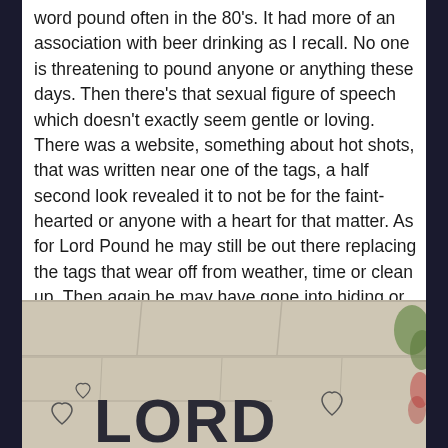word pound often in the 80's. It had more of an association with beer drinking as I recall. No one is threatening to pound anyone or anything these days. Then there's that sexual figure of speech which doesn't exactly seem gentle or loving. There was a website, something about hot shots, that was written near one of the tags, a half second look revealed it to not be for the faint-hearted or anyone with a heart for that matter. As for Lord Pound he may still be out there replacing the tags that wear off from weather, time or clean up. Then again he may have gone into hiding or he's retired.
[Figure (photo): A photo of a brick or stone wall with graffiti reading 'LORD' in large black letters, with hand-drawn heart outlines around the text.]